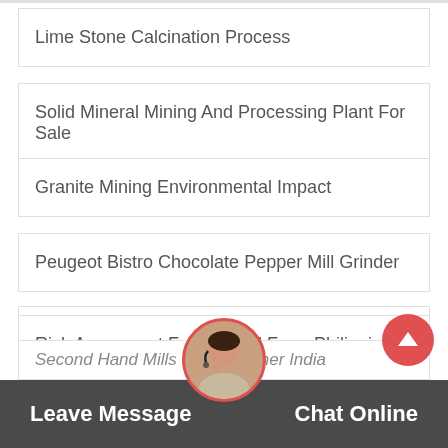Lime Stone Calcination Process
Solid Mineral Mining And Processing Plant For Sale
Granite Mining Environmental Impact
Peugeot Bistro Chocolate Pepper Mill Grinder
Grinding Machine Ball Mill With Temperature Control
Risk Assesment For Ball Mill From Philippines
Lab Scale Line Crusher Indiafrom Bangladesh
Second Hand Mills Brick Crusher India
Leave Message   Chat Online